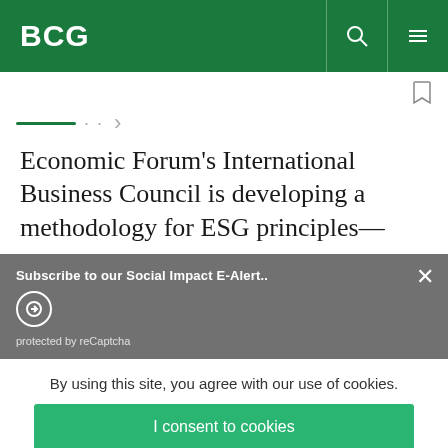BCG
Economic Forum’s International Business Council is developing a methodology for ESG principles—
Subscribe to our Social Impact E-Alert..
protected by reCaptcha
By using this site, you agree with our use of cookies.
I consent to cookies
Want to know more?
Read our Cookie Policy